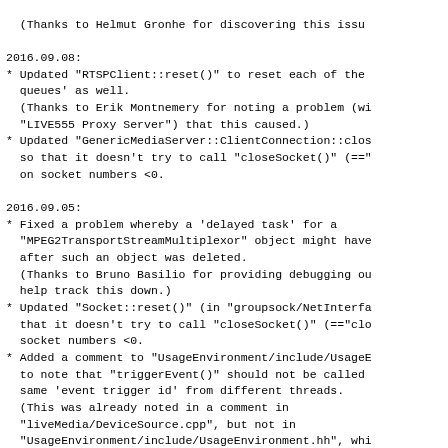(Thanks to Helmut Gronhe for discovering this issu
2016.09.08:
* Updated "RTSPClient::reset()" to reset each of the
  queues' as well.
  (Thanks to Erik Montnemery for noting a problem (wi
  "LIVE555 Proxy Server") that this caused.)
* Updated "GenericMediaServer::ClientConnection::clos
  so that it doesn't try to call "closeSocket()" (=="
  on socket numbers <0.
2016.09.05:
* Fixed a problem whereby a 'delayed task' for a
  "MPEG2TransportStreamMultiplexor" object might have
  after such an object was deleted.
  (Thanks to Bruno Basilio for providing debugging ou
  help track this down.)
* Updated "Socket::reset()" (in "groupsock/NetInterfa
  that it doesn't try to call "closeSocket()" (=="clo
  socket numbers <0.
* Added a comment to "UsageEnvironment/include/UsageE
  to note that "triggerEvent()" should not be called
  same 'event trigger id' from different threads.
  (This was already noted in a comment in
  "liveMedia/DeviceSource.cpp", but not in
  "UsageEnvironment/include/UsageEnvironment.hh", whi
  where "triggerEvent()" is defined.)
2016.08.27:
* Fixed a problem whereby a "Medium" object's "nextTa
  (i.e., "fNextTask") could hold an invalid value aff
  'scheduled task' has occurred (but before the next
  task is scheduled) - which causes problems should t
  "Medium" object be deleted during that window of